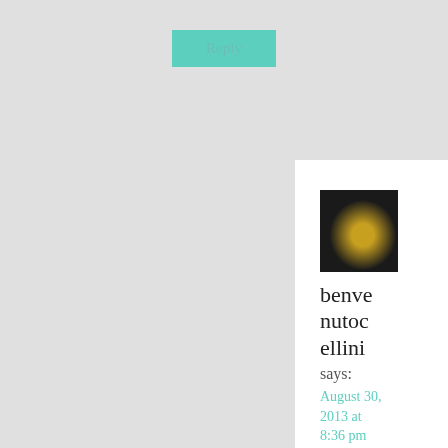Reply
[Figure (photo): Small avatar photo showing a person with dark hair against a dark background with a light reflection]
benvenutocellini
says:
August 30, 2013 at 8:36 pm
OOOOHH::) Lucky you... Three